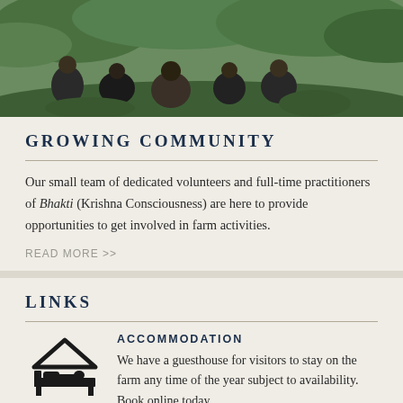[Figure (photo): People sitting outdoors on grass in a group setting, green vegetation background]
GROWING COMMUNITY
Our small team of dedicated volunteers and full-time practitioners of Bhakti (Krishna Consciousness) are here to provide opportunities to get involved in farm activities.
READ MORE >>
LINKS
ACCOMMODATION
We have a guesthouse for visitors to stay on the farm any time of the year subject to availability. Book online today.